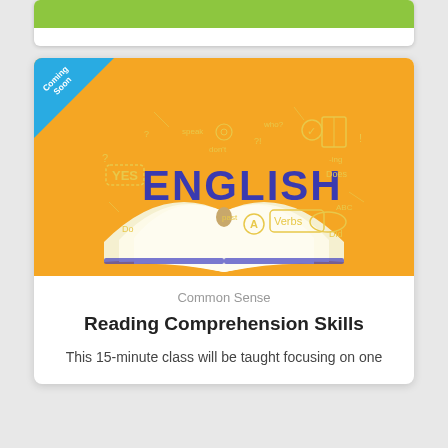[Figure (illustration): Green banner/bar at top of a course card (partially visible)]
[Figure (illustration): English reading comprehension course card with yellow background, open book illustration, doodle-style English words and icons, 'ENGLISH' in large blue letters, and a 'Coming Soon' badge in the top-left corner]
Common Sense
Reading Comprehension Skills
This 15-minute class will be taught focusing on one